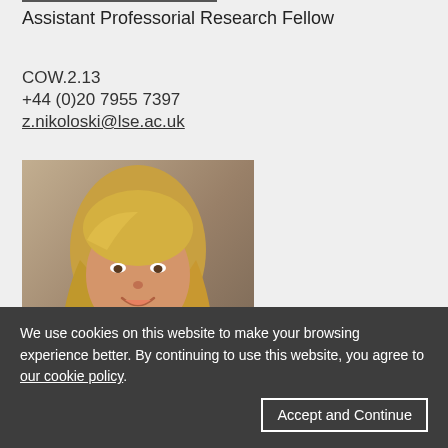Assistant Professorial Research Fellow
COW.2.13
+44 (0)20 7955 7397
z.nikoloski@lse.ac.uk
[Figure (photo): Professional headshot of a young woman with long blonde hair, smiling, wearing a dark top and necklace, against a neutral background.]
We use cookies on this website to make your browsing experience better. By continuing to use this website, you agree to our cookie policy.
Accept and Continue